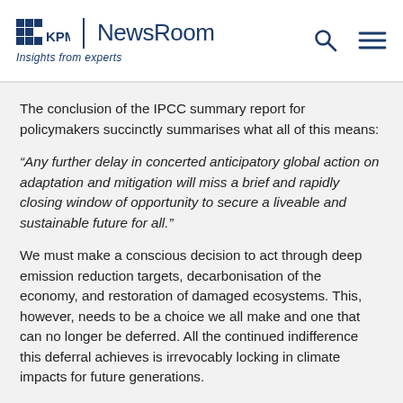KPMG | NewsRoom — Insights from experts
The conclusion of the IPCC summary report for policymakers succinctly summarises what all of this means:
“Any further delay in concerted anticipatory global action on adaptation and mitigation will miss a brief and rapidly closing window of opportunity to secure a liveable and sustainable future for all.”
We must make a conscious decision to act through deep emission reduction targets, decarbonisation of the economy, and restoration of damaged ecosystems. This, however, needs to be a choice we all make and one that can no longer be deferred. All the continued indifference this deferral achieves is irrevocably locking in climate impacts for future generations.